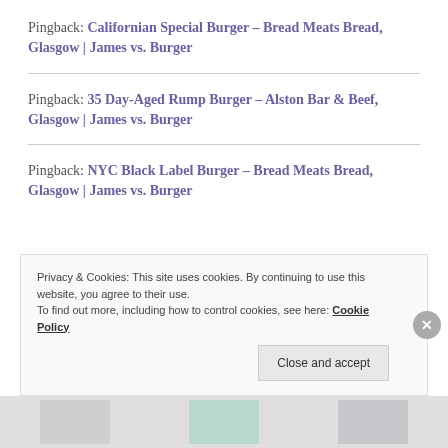Pingback: Californian Special Burger – Bread Meats Bread, Glasgow | James vs. Burger
Pingback: 35 Day-Aged Rump Burger – Alston Bar & Beef, Glasgow | James vs. Burger
Pingback: NYC Black Label Burger – Bread Meats Bread, Glasgow | James vs. Burger
Privacy & Cookies: This site uses cookies. By continuing to use this website, you agree to their use. To find out more, including how to control cookies, see here: Cookie Policy
Close and accept